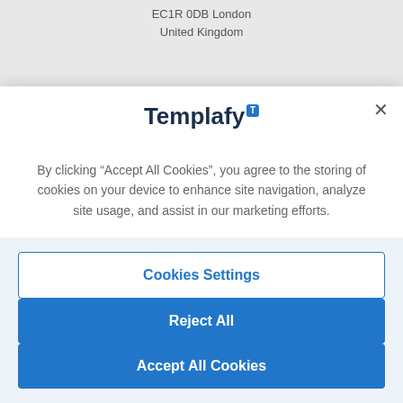EC1R 0DB London
United Kingdom
[Figure (logo): Templafy logo with blue badge icon containing letter T]
By clicking “Accept All Cookies”, you agree to the storing of cookies on your device to enhance site navigation, analyze site usage, and assist in our marketing efforts.
Cookies Settings
Reject All
Accept All Cookies